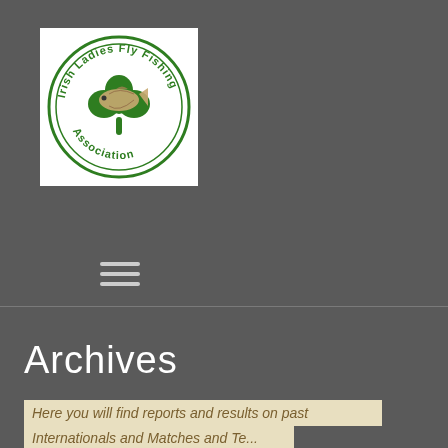[Figure (logo): Irish Ladies Fly Fishing Association circular logo with green shamrock, fish, and text around the border]
[Figure (other): Hamburger menu icon with three horizontal lines]
Archives
Here you will find reports and results on past
Internationals and Matches and Team N